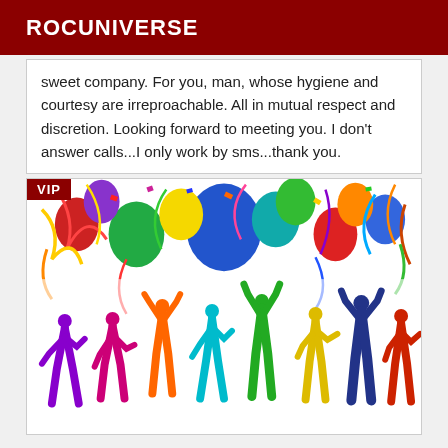ROCUNIVERSE
sweet company. For you, man, whose hygiene and courtesy are irreproachable. All in mutual respect and discretion. Looking forward to meeting you. I don't answer calls...I only work by sms...thank you.
[Figure (illustration): Party scene with colorful balloons, streamers, confetti at top and colorful silhouettes of dancing people at the bottom. A red VIP badge is in the top-left corner.]